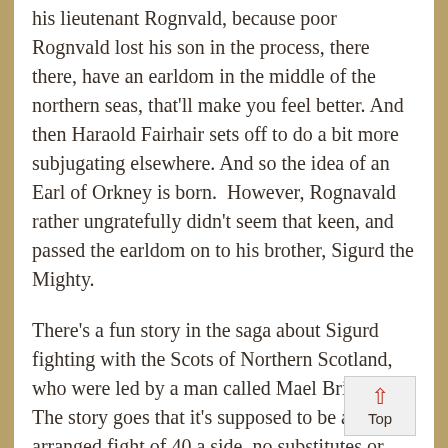his lieutenant Rognvald, because poor Rognvald lost his son in the process, there there, have an earldom in the middle of the northern seas, that'll make you feel better. And then Haraold Fairhair sets off to do a bit more subjugating elsewhere. And so the idea of an Earl of Orkney is born.  However, Rognavald rather ungratefully didn't seem that keen, and passed the earldom on to his brother, Sigurd the Mighty.
There's a fun story in the saga about Sigurd fighting with the Scots of Northern Scotland, who were led by a man called Mael Brighte. The story goes that it's supposed to be an arranged fight of 40 a side, no substitutes or extra time allowed. But Sigurd brings 80 instead, and wins. The Vikings did so love to cheat. It's often said that Mael Brighte got the last laugh, because Sigurd chopped off his head, and snagged his leg with one of Mael Brighte's teeth, got